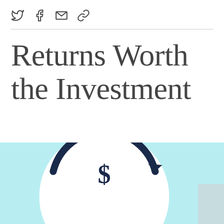Social share icons: Twitter, Facebook, Email, Link
Returns Worth the Investment
[Figure (infographic): Light blue background infographic panel with a large white circle containing a dollar sign symbol and a dark navy arc/arrow curving around the top of the circle, suggesting financial returns or investment cycle. Partially visible at the bottom of the page.]